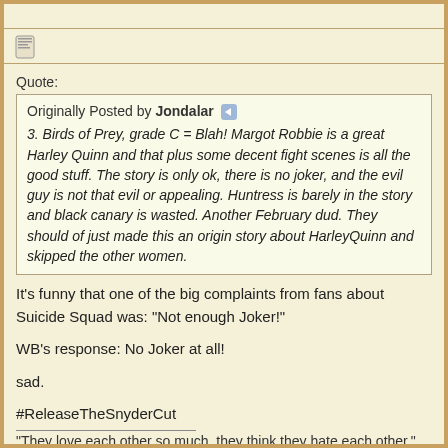[Figure (screenshot): Forum post icon (notepad/document icon)]
Quote:
Originally Posted by Jondalar
3. Birds of Prey, grade C = Blah! Margot Robbie is a great Harley Quinn and that plus some decent fight scenes is all the good stuff. The story is only ok, there is no joker, and the evil guy is not that evil or appealing. Huntress is barely in the story and black canary is wasted. Another February dud. They should of just made this an origin story about HarleyQuinn and skipped the other women.
It's funny that one of the big complaints from fans about Suicide Squad was: "Not enough Joker!"
WB's response: No Joker at all!
sad.
#ReleaseTheSnyderCut
"They love each other so much, they think they hate each other."
Imagine paying $1000 to hear "Don't Dream It's Over" instead of "Go Your Own Way"
Fleetwood Mac helped me through a time of heartbreak. 12